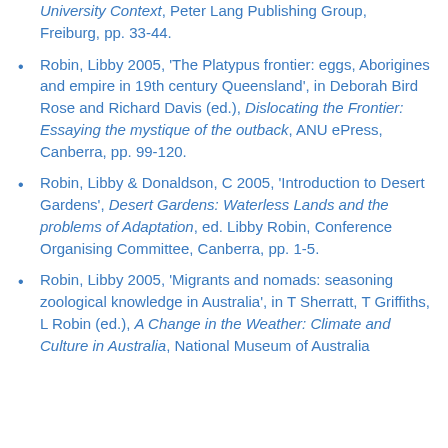University Context, Peter Lang Publishing Group, Freiburg, pp. 33-44.
Robin, Libby 2005, 'The Platypus frontier: eggs, Aborigines and empire in 19th century Queensland', in Deborah Bird Rose and Richard Davis (ed.), Dislocating the Frontier: Essaying the mystique of the outback, ANU ePress, Canberra, pp. 99-120.
Robin, Libby & Donaldson, C 2005, 'Introduction to Desert Gardens', Desert Gardens: Waterless Lands and the problems of Adaptation, ed. Libby Robin, Conference Organising Committee, Canberra, pp. 1-5.
Robin, Libby 2005, 'Migrants and nomads: seasoning zoological knowledge in Australia', in T Sherratt, T Griffiths, L Robin (ed.), A Change in the Weather: Climate and Culture in Australia, National Museum of Australia